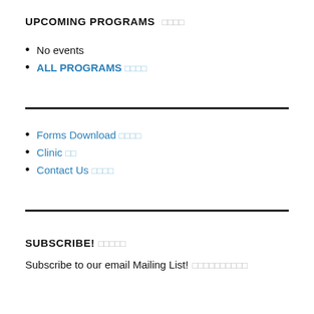UPCOMING PROGRAMS □□□□
No events
ALL PROGRAMS □□□□
Forms Download □□□□
Clinic □□
Contact Us □□□□
SUBSCRIBE! □□□□□
Subscribe to our email Mailing List! □□□□□□□□□□